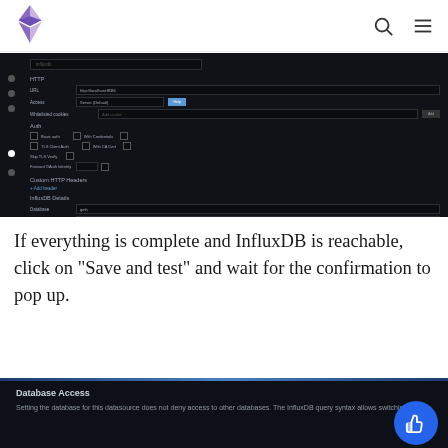Ethereum documentation site header with logo, search icon, and menu icon
[Figure (screenshot): Grafana datasource configuration UI (dark theme) showing HTTP section with URL field 'http://localhost:8086', Access dropdown 'Server (Default)', Auth section with various toggle options, Custom HTTP Headers with Add header button, and InfluxDB Details section with Database, User, Password, and HTTP Method fields]
If everything is complete and InfluxDB is reachable, click on "Save and test" and wait for the confirmation to pop up.
[Figure (screenshot): Grafana Database Access panel with a blue horizontal bar at top, showing title 'Database Access' and description text 'Setting the database for this datasource does not deny access to other databases. The InfluxDB query syntax allows switching the']